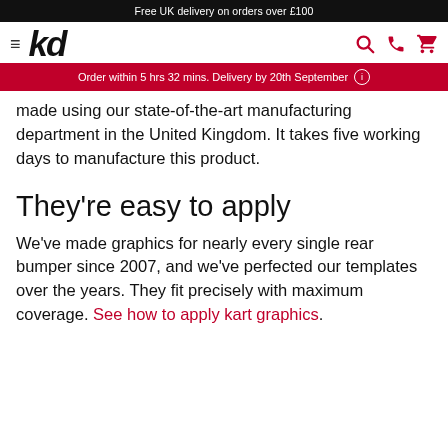Free UK delivery on orders over £100
[Figure (logo): kd logo with hamburger menu and nav icons (search, phone, cart)]
Order within 5 hrs 32 mins. Delivery by 20th September
made using our state-of-the-art manufacturing department in the United Kingdom. It takes five working days to manufacture this product.
They're easy to apply
We've made graphics for nearly every single rear bumper since 2007, and we've perfected our templates over the years. They fit precisely with maximum coverage. See how to apply kart graphics.